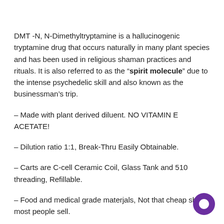DMT -N, N-Dimethyltryptamine is a hallucinogenic tryptamine drug that occurs naturally in many plant species and has been used in religious shaman practices and rituals. It is also referred to as the "spirit molecule" due to the intense psychedelic skill and also known as the businessman's trip.
– Made with plant derived diluent. NO VITAMIN E ACETATE!
– Dilution ratio 1:1, Break-Thru Easily Obtainable.
– Carts are C-cell Ceramic Coil, Glass Tank and 510 threading, Refillable.
– Food and medical grade materjals, Not that cheap shit most people sell.